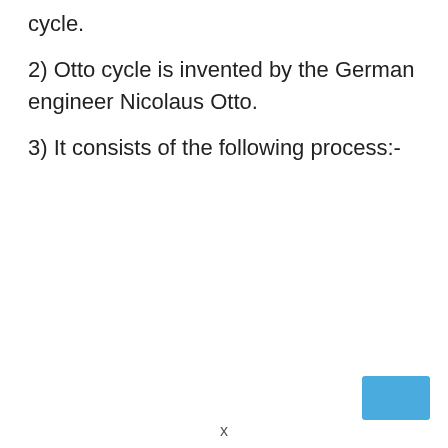cycle.
2) Otto cycle is invented by the German engineer Nicolaus Otto.
3) It consists of the following process:-